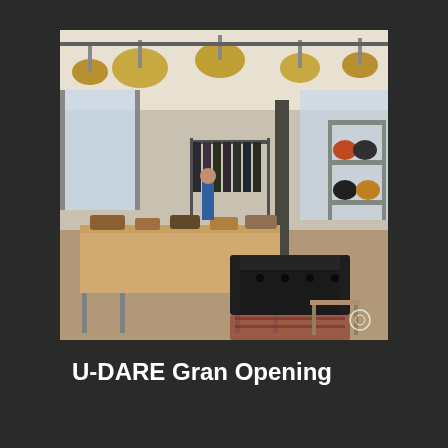[Figure (photo): Interior of a retail shop showing wooden display tables with bags and accessories, clothing racks with hanging jackets, a black leather Chesterfield sofa, pendant lighting with large tan shades, and shelving units displaying motorcycle helmets on the right side. People browsing in the background.]
U-DARE Gran Opening